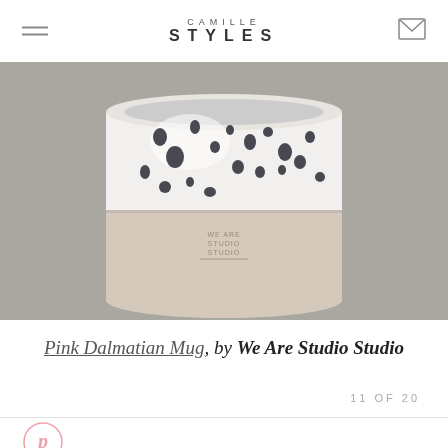CAMILLE STYLES
[Figure (photo): White ceramic mug with black dalmatian-spot pattern on upper half, unglazed pink/beige lower half, small stamp on lower front, on grey background]
Pink Dalmatian Mug, by We Are Studio Studio
11 OF 20
[Figure (logo): Pinterest circular logo outline in pink]